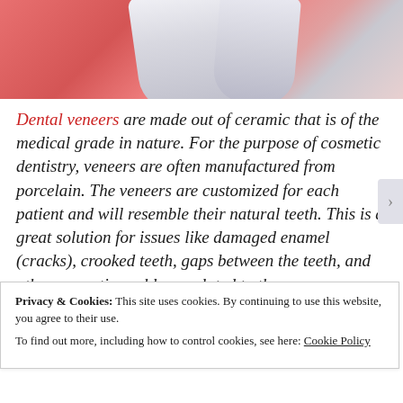[Figure (illustration): Medical illustration showing dental veneers/teeth with pink gum tissue background and white/grey tooth forms]
Dental veneers are made out of ceramic that is of the medical grade in nature. For the purpose of cosmetic dentistry, veneers are often manufactured from porcelain. The veneers are customized for each patient and will resemble their natural teeth. This is a great solution for issues like damaged enamel (cracks), crooked teeth, gaps between the teeth, and other cosmetic problems related to the
Privacy & Cookies: This site uses cookies. By continuing to use this website, you agree to their use.
To find out more, including how to control cookies, see here: Cookie Policy